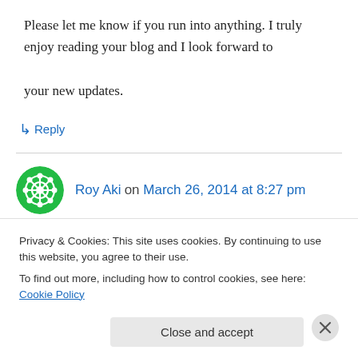Please let me know if you run into anything. I truly enjoy reading your blog and I look forward to your new updates.
↳ Reply
Roy Aki on March 26, 2014 at 8:27 pm
You could definitely see your enthusiasm within the work.
Privacy & Cookies: This site uses cookies. By continuing to use this website, you agree to their use.
To find out more, including how to control cookies, see here: Cookie Policy